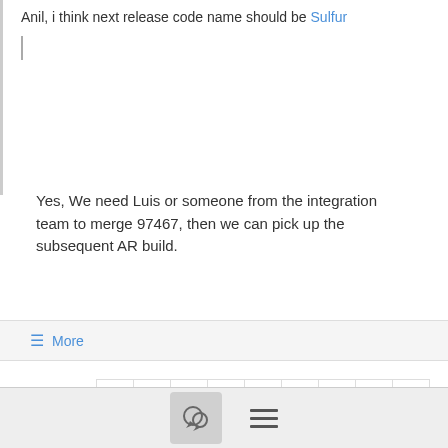Anil, i think next release code name should be Sulfur
Yes, We need Luis or someone from the integration team to merge 97467, then we can pick up the subsequent AR build.
≡ More
121 - 140 of 14631
‹ 3 4 5 6 7 8 9 10 11 ›